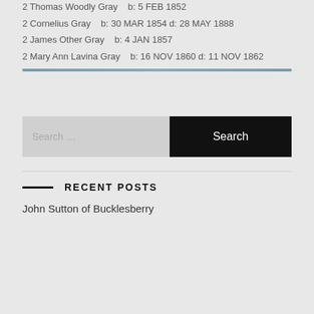2 Thomas Woodly Gray  b: 5 FEB 1852
2 Cornelius Gray  b: 30 MAR 1854 d: 28 MAY 1888
2 James Other Gray  b: 4 JAN 1857
2 Mary Ann Lavina Gray  b: 16 NOV 1860 d: 11 NOV 1862
RECENT POSTS
John Sutton of Bucklesberry